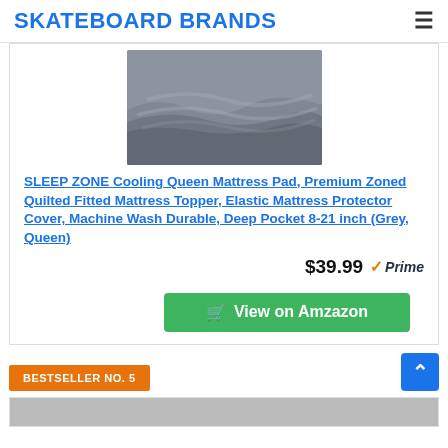SKATEBOARD BRANDS
[Figure (photo): Product image of a grey quilted mattress pad/topper shown from above, with wavy quilted texture in grey fabric.]
SLEEP ZONE Cooling Queen Mattress Pad, Premium Zoned Quilted Fitted Mattress Topper, Elastic Mattress Protector Cover, Machine Wash Durable, Deep Pocket 8-21 inch (Grey, Queen)
$39.99 Prime
View on Amzazon
BESTSELLER NO. 5